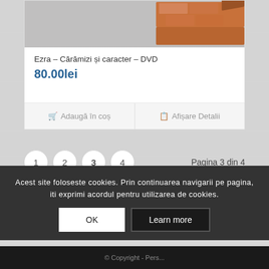[Figure (photo): Product image showing orange/red bricks arranged in a 3D corner pattern, partially visible at top of card]
Ezra – Cărămizi și caracter – DVD
80.00lei
Adaugă în coș
Afișare Detalii
1  2  3  4
Pagina 3 din 4
Acest site foloseste cookies. Prin continuarea navigarii pe pagina, iti exprimi acordul pentru utilizarea de cookies.
OK
Learn more
© Copyright - Pers...